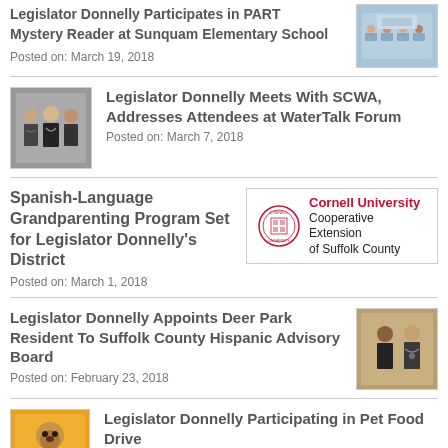Legislator Donnelly Participates in PART Mystery Reader at Sunquam Elementary School
Posted on: March 19, 2018
Legislator Donnelly Meets With SCWA, Addresses Attendees at WaterTalk Forum
Posted on: March 7, 2018
Spanish-Language Grandparenting Program Set for Legislator Donnelly's District
Posted on: March 1, 2018
Legislator Donnelly Appoints Deer Park Resident To Suffolk County Hispanic Advisory Board
Posted on: February 23, 2018
Legislator Donnelly Participating in Pet Food Drive
Posted on: February 20, 2018